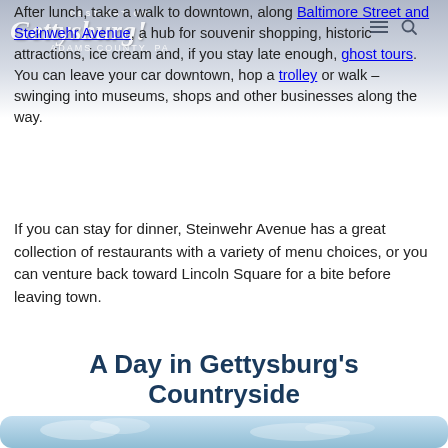After lunch, take a walk to downtown, along Baltimore Street and Steinwehr Avenue, a hub for souvenir shopping, historic attractions, ice cream and, if you stay late enough, ghost tours. You can leave your car downtown, hop a trolley or walk – swinging into museums, shops and other businesses along the way.
[Figure (logo): Destination Gettysburg! Adams County, PA logo in white script with navigation hamburger menu and search icon overlaid on a gray-blue gradient banner]
If you can stay for dinner, Steinwehr Avenue has a great collection of restaurants with a variety of menu choices, or you can venture back toward Lincoln Square for a bite before leaving town.
A Day in Gettysburg's Countryside
Gettysburg's scenic countryside is something that many travelers don't discover until they've visited a few times, but it's truly one of the region's hidden gems.
[Figure (photo): Light blue sky and landscape strip at the bottom of the page]